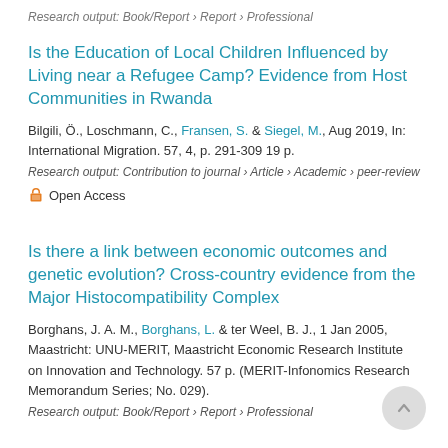Research output: Book/Report › Report › Professional
Is the Education of Local Children Influenced by Living near a Refugee Camp? Evidence from Host Communities in Rwanda
Bilgili, Ö., Loschmann, C., Fransen, S. & Siegel, M., Aug 2019, In: International Migration. 57, 4, p. 291-309 19 p.
Research output: Contribution to journal › Article › Academic › peer-review
Open Access
Is there a link between economic outcomes and genetic evolution? Cross-country evidence from the Major Histocompatibility Complex
Borghans, J. A. M., Borghans, L. & ter Weel, B. J., 1 Jan 2005, Maastricht: UNU-MERIT, Maastricht Economic Research Institute on Innovation and Technology. 57 p. (MERIT-Infonomics Research Memorandum Series; No. 029).
Research output: Book/Report › Report › Professional